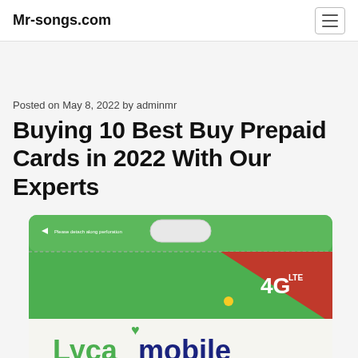Mr-songs.com
Posted on May 8, 2022 by adminmr
Buying 10 Best Buy Prepaid Cards in 2022 With Our Experts
[Figure (photo): Lycamobile prepaid SIM card packaging — green card with red triangle corner showing 4G LTE logo and Lycamobile brand name at bottom]